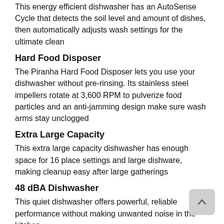This energy efficient dishwasher has an AutoSense Cycle that detects the soil level and amount of dishes, then automatically adjusts wash settings for the ultimate clean
Hard Food Disposer
The Piranha Hard Food Disposer lets you use your dishwasher without pre-rinsing. Its stainless steel impellers rotate at 3,600 RPM to pulverize food particles and an anti-jamming design make sure wash arms stay unclogged
Extra Large Capacity
This extra large capacity dishwasher has enough space for 16 place settings and large dishware, making cleanup easy after large gatherings
48 dBA Dishwasher
This quiet dishwasher offers powerful, reliable performance without making unwanted noise in the kitchen
Optional WiFi
Turn your appliance into a smart dishwasher with a